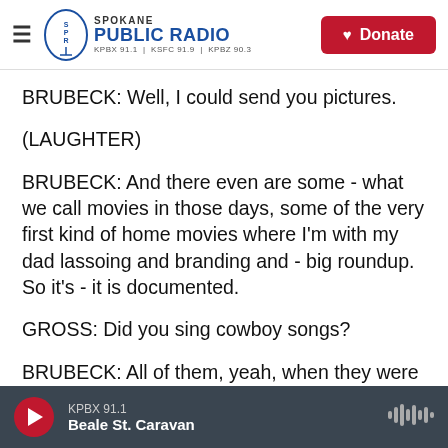Spokane Public Radio — KPBX 91.1 | KSFC 91.9 | KPBZ 90.3 — Donate
BRUBECK: Well, I could send you pictures.
(LAUGHTER)
BRUBECK: And there even are some - what we call movies in those days, some of the very first kind of home movies where I'm with my dad lassoing and branding and - big roundup. So it's - it is documented.
GROSS: Did you sing cowboy songs?
BRUBECK: All of them, yeah, when they were real
KPBX 91.1 — Beale St. Caravan